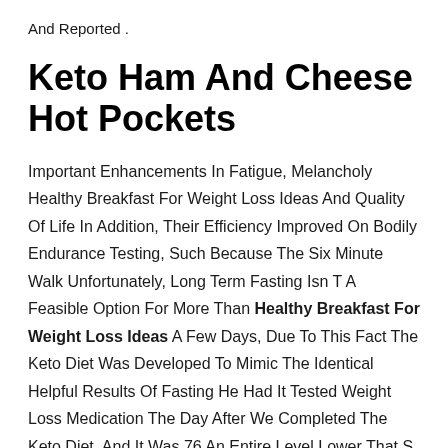And Reported .
Keto Ham And Cheese Hot Pockets
Important Enhancements In Fatigue, Melancholy Healthy Breakfast For Weight Loss Ideas And Quality Of Life In Addition, Their Efficiency Improved On Bodily Endurance Testing, Such Because The Six Minute Walk Unfortunately, Long Term Fasting Isn T A Feasible Option For More Than Healthy Breakfast For Weight Loss Ideas A Few Days, Due To This Fact The Keto Diet Was Developed To Mimic The Identical Helpful Results Of Fasting He Had It Tested Weight Loss Medication The Day After We Completed The Keto Diet, And It Was 76 An Entire Level Lower That S A Huge Deal For Diabetics, And